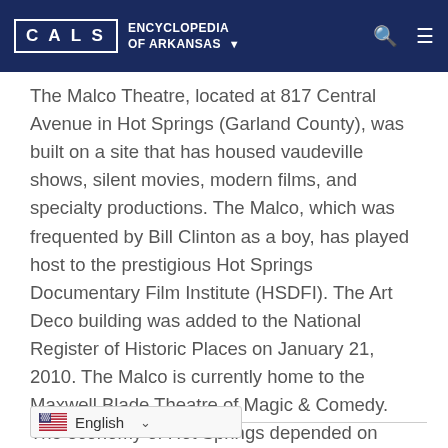CALS ENCYCLOPEDIA OF ARKANSAS
The Malco Theatre, located at 817 Central Avenue in Hot Springs (Garland County), was built on a site that has housed vaudeville shows, silent movies, modern films, and specialty productions. The Malco, which was frequented by Bill Clinton as a boy, has played host to the prestigious Hot Springs Documentary Film Institute (HSDFI). The Art Deco building was added to the National Register of Historic Places on January 21, 2010. The Malco is currently home to the Maxwell Blade Theatre of Magic & Comedy. The economy of Hot Springs depended on lodging, dining, and entertainment to support its burgeoning tourism industry. In the late 1800s, Hot Springs attracted visitors from around the country to “take the waters.” After their therapeutic …